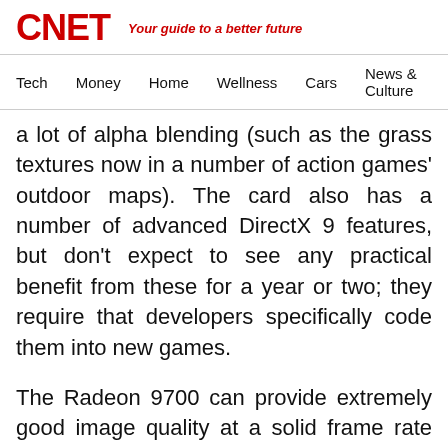CNET — Your guide to a better future
Tech   Money   Home   Wellness   Cars   News & Culture
a lot of alpha blending (such as the grass textures now in a number of action games' outdoor maps). The card also has a number of advanced DirectX 9 features, but don't expect to see any practical benefit from these for a year or two; they require that developers specifically code them into new games.
The Radeon 9700 can provide extremely good image quality at a solid frame rate because the card has a lot of memory bandwidth and uses it efficiently. The 256-bit